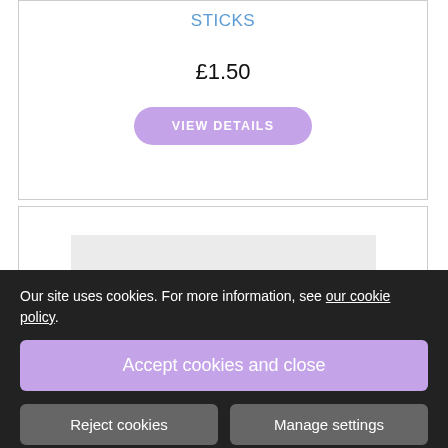STICKS
£1.50
VIEW DETAILS
[Figure (other): Product image placeholder — dark product on grey background]
Our site uses cookies. For more information, see our cookie policy.
Accept cookies and close
Reject cookies
Manage settings